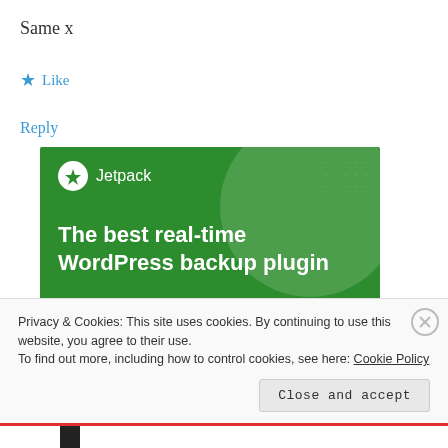Same x
★ Like
Reply
[Figure (screenshot): Jetpack advertisement banner with green background showing 'The best real-time WordPress backup plugin' text and a 'Back up your site' white button at the bottom.]
Privacy & Cookies: This site uses cookies. By continuing to use this website, you agree to their use.
To find out more, including how to control cookies, see here: Cookie Policy
Close and accept